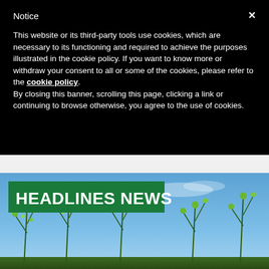Notice
This website or its third-party tools use cookies, which are necessary to its functioning and required to achieve the purposes illustrated in the cookie policy. If you want to know more or withdraw your consent to all or some of the cookies, please refer to the cookie policy.
By closing this banner, scrolling this page, clicking a link or continuing to browse otherwise, you agree to the use of cookies.
[Figure (photo): Photograph of green flowering plants with small buds against a blue sky, with a green banner overlay reading HEADLINES NEWS in white bold text]